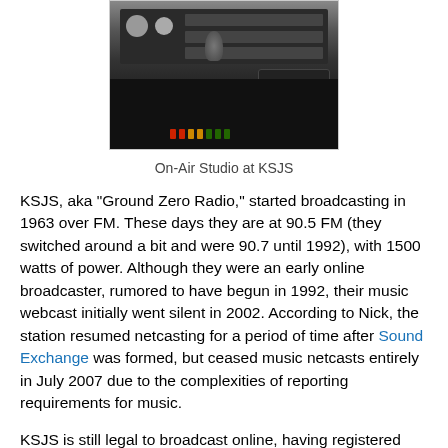[Figure (photo): On-Air Studio at KSJS — radio mixing board and microphone equipment in a dark studio setting]
On-Air Studio at KSJS
KSJS, aka "Ground Zero Radio," started broadcasting in 1963 over FM. These days they are at 90.5 FM (they switched around a bit and were 90.7 until 1992), with 1500 watts of power. Although they were an early online broadcaster, rumored to have begun in 1992, their music webcast initially went silent in 2002. According to Nick, the station resumed netcasting for a period of time after Sound Exchange was formed, but ceased music netcasts entirely in July 2007 due to the complexities of reporting requirements for music.
KSJS is still legal to broadcast online, having registered with Sound Exchange, and does continue to air netcasts for sports and public affairs programs. Nick told me that when he turned off the Internet feed an interesting thing happened: